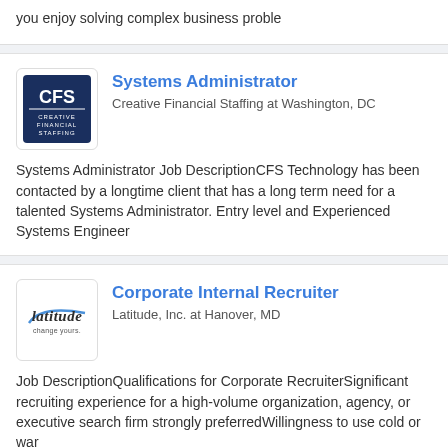you enjoy solving complex business proble
[Figure (logo): CFS Creative Financial Staffing logo - dark blue square with white letters CFS and text below]
Systems Administrator
Creative Financial Staffing at Washington, DC
Systems Administrator Job DescriptionCFS Technology has been contacted by a longtime client that has a long term need for a talented Systems Administrator. Entry level and Experienced Systems Engineer
[Figure (logo): Latitude Inc logo - cursive latitude text with change yours tagline]
Corporate Internal Recruiter
Latitude, Inc. at Hanover, MD
Job DescriptionQualifications for Corporate RecruiterSignificant recruiting experience for a high-volume organization, agency, or executive search firm strongly preferredWillingness to use cold or war